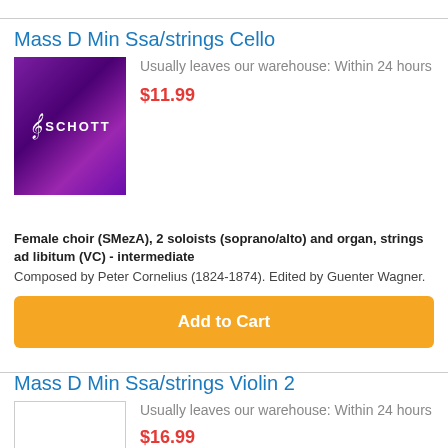Mass D Min Ssa/strings Cello
Usually leaves our warehouse: Within 24 hours
$11.99
[Figure (logo): Schott music publisher logo on purple background]
Female choir (SMezA), 2 soloists (soprano/alto) and organ, strings ad libitum (VC) - intermediate
Composed by Peter Cornelius (1824-1874). Edited by Guenter Wagner.
Add to Cart
Mass D Min Ssa/strings Violin 2
Usually leaves our warehouse: Within 24 hours
$16.99